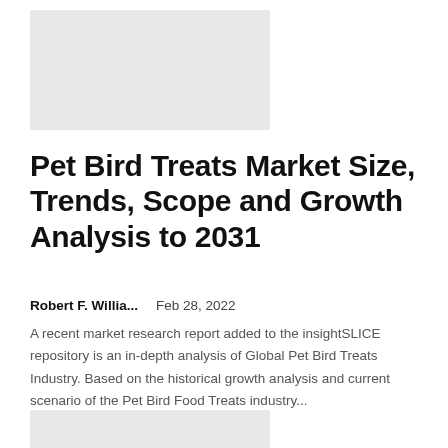[Figure (other): Gray placeholder image block at top]
Pet Bird Treats Market Size, Trends, Scope and Growth Analysis to 2031
Robert F. Willia...    Feb 28, 2022
A recent market research report added to the insightSLICE repository is an in-depth analysis of Global Pet Bird Treats Industry. Based on the historical growth analysis and current scenario of the Pet Bird Food Treats industry...
[Figure (other): Gray placeholder image block at bottom]